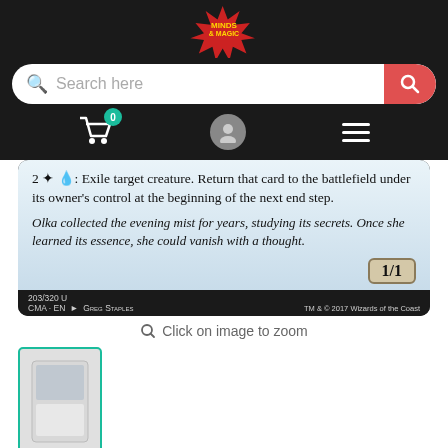[Figure (screenshot): Minds & Magic online store header with logo, search bar, cart icon with badge 0, user icon, and hamburger menu on dark background]
[Figure (photo): Magic: The Gathering card close-up showing rules text: '2 W U: Exile target creature. Return that card to the battlefield under its owner's control at the beginning of the next end step.' Flavor text: 'Olka collected the evening mist for years, studying its secrets. Once she learned its essence, she could vanish with a thought.' Power/toughness 1/1, 203/320 U, CMA EN, Greg Staples, TM & 2017 Wizards of the Coast]
Click on image to zoom
[Figure (photo): Small thumbnail of the Magic card]